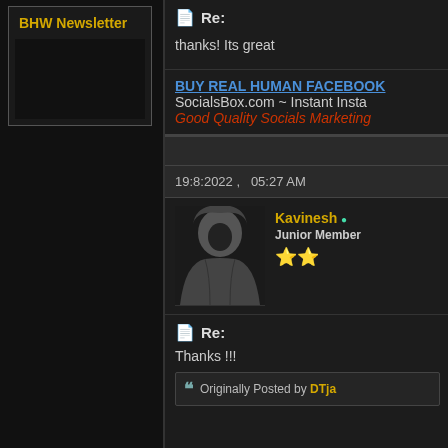BHW Newsletter
19:8:2022 ,   05:27 AM
Kavinesh • Junior Member
[Figure (photo): Dark silhouette of a person wearing a hoodie against a black background]
Re:
thanks! Its great
BUY REAL HUMAN FACEBOOK
SocialsBox.com ~ Instant Insta
Good Quality Socials Marketing
Re:
Thanks !!!
Originally Posted by DTja